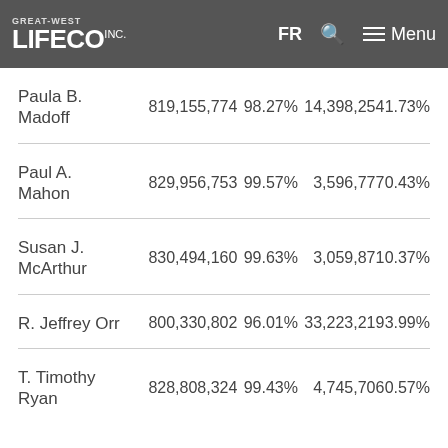Great-West Lifeco Inc. — FR | Search | Menu
| Name | Votes For | % | Votes Against | % |
| --- | --- | --- | --- | --- |
| Paula B. Madoff | 819,155,774 | 98.27% | 14,398,254 | 1.73% |
| Paul A. Mahon | 829,956,753 | 99.57% | 3,596,777 | 0.43% |
| Susan J. McArthur | 830,494,160 | 99.63% | 3,059,871 | 0.37% |
| R. Jeffrey Orr | 800,330,802 | 96.01% | 33,223,219 | 3.99% |
| T. Timothy Ryan | 828,808,324 | 99.43% | 4,745,706 | 0.57% |